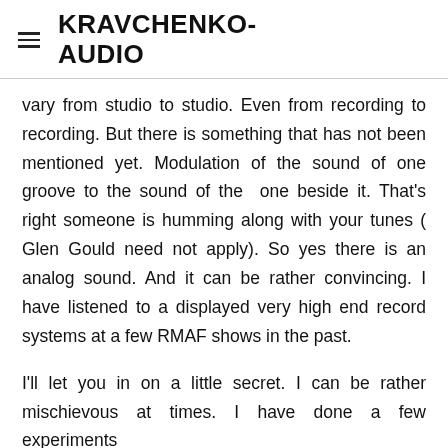KRAVCHENKO-AUDIO
vary from studio to studio. Even from recording to recording. But there is something that has not been mentioned yet. Modulation of the sound of one groove to the sound of the  one beside it. That's right someone is humming along with your tunes ( Glen Gould need not apply). So yes there is an analog sound. And it can be rather convincing. I have listened to a displayed very high end record systems at a few RMAF shows in the past.
I'll let you in on a little secret. I can be rather mischievous at times. I have done a few experiments